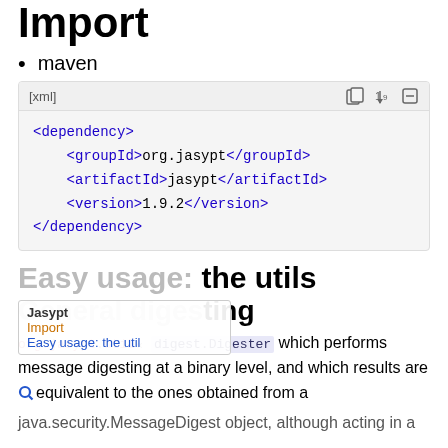Import
maven
[xml]
<dependency>
    <groupId>org.jasypt</groupId>
    <artifactId>jasypt</artifactId>
    <version>1.9.2</version>
</dependency>
Easy usage: the utils
General digesting
org.jasypt.util.digest.Digester which performs message digesting at a binary level, and which results are equivalent to the ones obtained from a java.security.MessageDigest object, although acting in a